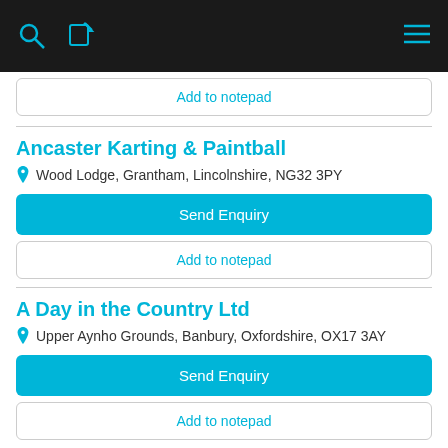[Figure (screenshot): Mobile app top navigation bar with search icon, notepad/edit icon, and hamburger menu icon on dark background]
Add to notepad
Ancaster Karting & Paintball
Wood Lodge, Grantham, Lincolnshire, NG32 3PY
Send Enquiry
Add to notepad
A Day in the Country Ltd
Upper Aynho Grounds, Banbury, Oxfordshire, OX17 3AY
Send Enquiry
Add to notepad